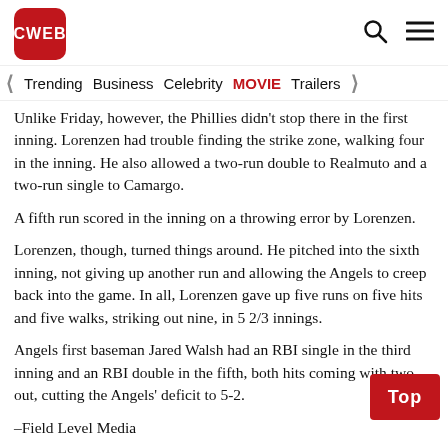CWEB
Trending  Business  Celebrity  MOVIE  Trailers
Unlike Friday, however, the Phillies didn't stop there in the first inning. Lorenzen had trouble finding the strike zone, walking four in the inning. He also allowed a two-run double to Realmuto and a two-run single to Camargo.
A fifth run scored in the inning on a throwing error by Lorenzen.
Lorenzen, though, turned things around. He pitched into the sixth inning, not giving up another run and allowing the Angels to creep back into the game. In all, Lorenzen gave up five runs on five hits and five walks, striking out nine, in 5 2/3 innings.
Angels first baseman Jared Walsh had an RBI single in the third inning and an RBI double in the fifth, both hits coming with two out, cutting the Angels' deficit to 5-2.
–Field Level Media